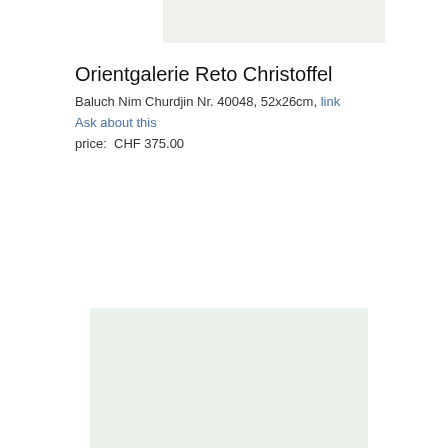[Figure (photo): Top image placeholder, light gray/beige background]
Orientgalerie Reto Christoffel
Baluch Nim Churdjin Nr. 40048, 52x26cm, link
Ask about this
price:  CHF 375.00
[Figure (photo): Bottom image placeholder, light green/gray background]